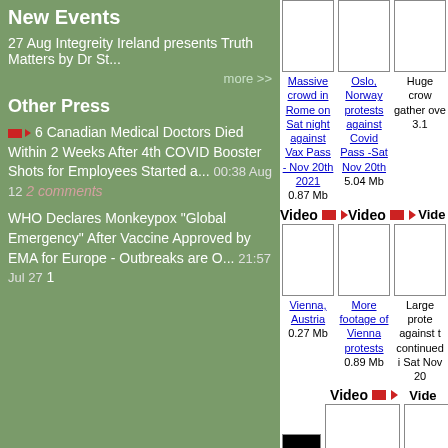New Events
27 Aug Integreity Ireland presents Truth Matters by Dr St...
more >>
Other Press
6 Canadian Medical Doctors Died Within 2 Weeks After 4th COVID Booster Shots for Employees Started a... 00:38 Aug 12 2 comments
WHO Declares Monkeypox "Global Emergency" After Vaccine Approved by EMA for Europe - Outbreaks are O... 21:57 Jul 27 1
[Figure (screenshot): Video thumbnail placeholder - Massive crowd in Rome]
Massive crowd in Rome on Sat night against Vax Pass - Nov 20th 2021 0.87 Mb
[Figure (screenshot): Video thumbnail placeholder - Oslo Norway protests]
Oslo, Norway protests against Covid Pass -Sat Nov 20th 5.04 Mb
[Figure (screenshot): Video thumbnail placeholder - Huge crowd]
Huge crowd gather over 3.1
[Figure (screenshot): Video thumbnail - Vienna Austria]
Vienna, Austria 0.27 Mb
[Figure (screenshot): Video thumbnail - More footage of Vienna protests]
More footage of Vienna protests 0.89 Mb
[Figure (screenshot): Video thumbnail - Large protests against]
Large protests against the continued in Sat Nov 20
[Figure (screenshot): Black image - Ric Bosi and Dave Oneegs chat]
Ric Bosi and Dave Oneegs chat
[Figure (screenshot): Video thumbnail - March and Rally for Truth]
March & Rally for Truth & Civil Rights - Sat Nov 27th - Garden Of Remembrance, Dublin 6.57 Mb
[Figure (screenshot): Video thumbnail - Is The government]
Is The government 0.2